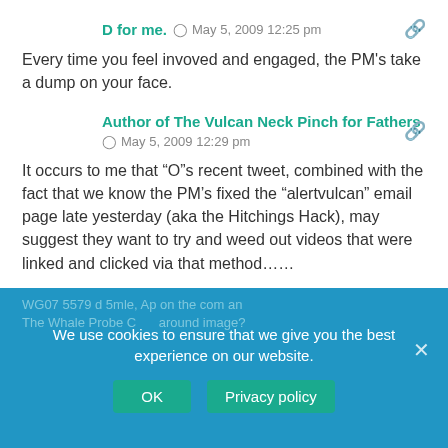D for me.  May 5, 2009 12:25 pm
Every time you feel invoved and engaged, the PM's take a dump on your face.
Author of The Vulcan Neck Pinch for Fathers
May 5, 2009 12:29 pm
It occurs to me that “O”s recent tweet, combined with the fact that we know the PM’s fixed the “alertvulcan” email page late yesterday (aka the Hitchings Hack), may suggest they want to try and weed out videos that were linked and clicked via that method……
We use cookies to ensure that we give you the best experience on our website.